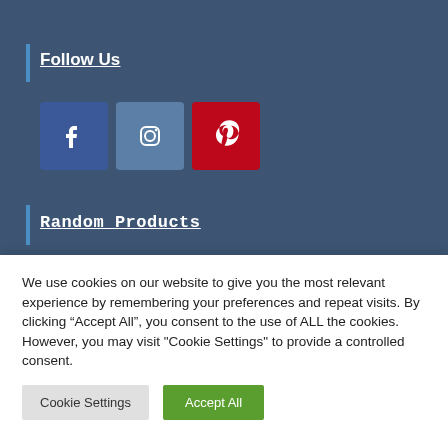Follow Us
[Figure (illustration): Three social media icon buttons: Facebook (blue), Instagram (steel blue), Pinterest (red)]
Random Products
Slim Fit Grey Premium Denim Jeans for
We use cookies on our website to give you the most relevant experience by remembering your preferences and repeat visits. By clicking “Accept All”, you consent to the use of ALL the cookies. However, you may visit "Cookie Settings" to provide a controlled consent.
Cookie Settings
Accept All